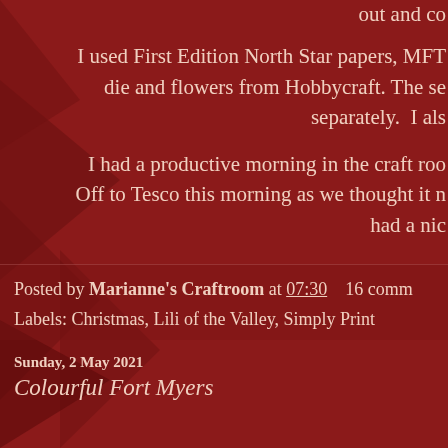out and co
I used First Edition North Star papers, MFT die and flowers from Hobbycraft. The se separately.  I als
I had a productive morning in the craft roo Off to Tesco this morning as we thought it n had a nic
Posted by Marianne's Craftroom at 07:30    16 comm
Labels: Christmas, Lili of the Valley, Simply Print
Sunday, 2 May 2021
Colourful Fort Myers